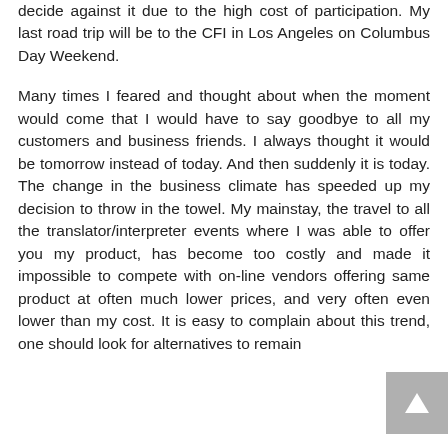decide against it due to the high cost of participation. My last road trip will be to the CFI in Los Angeles on Columbus Day Weekend.
Many times I feared and thought about when the moment would come that I would have to say goodbye to all my customers and business friends. I always thought it would be tomorrow instead of today. And then suddenly it is today. The change in the business climate has speeded up my decision to throw in the towel. My mainstay, the travel to all the translator/interpreter events where I was able to offer you my product, has become too costly and made it impossible to compete with on-line vendors offering same product at often much lower prices, and very often even lower than my cost. It is easy to complain about this trend, one should look for alternatives to remain